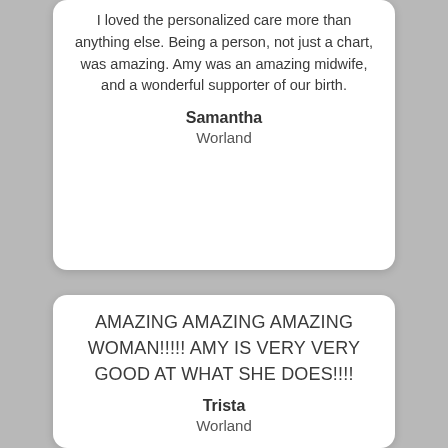I loved the personalized care more than anything else.  Being a person, not just a chart, was amazing.  Amy was an amazing midwife, and a wonderful supporter of our birth.
Samantha
Worland
AMAZING AMAZING AMAZING WOMAN!!!!! AMY IS VERY VERY GOOD AT WHAT SHE DOES!!!!
Trista
Worland